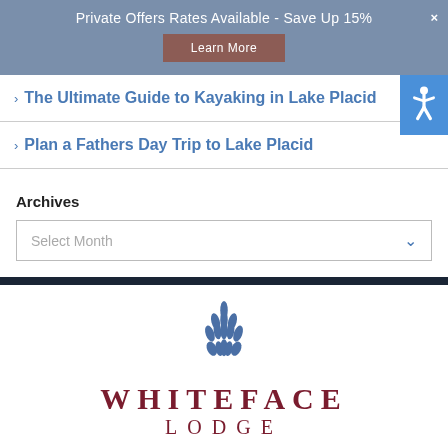Private Offers Rates Available - Save Up 15%
The Ultimate Guide to Kayaking in Lake Placid
Plan a Fathers Day Trip to Lake Placid
Archives
Select Month
[Figure (logo): Whiteface Lodge logo with stylized pine/leaf emblem above the text WHITEFACE LODGE in dark red serif lettering]